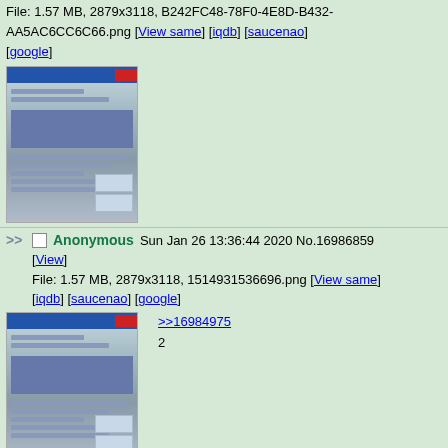File: 1.57 MB, 2879x3118, B242FC48-78F0-4E8D-B432-AA5AC6CC6C66.png [View same] [iqdb] [saucenao] [google]
[Figure (screenshot): Thumbnail of a document page screenshot]
>> Anonymous Sun Jan 26 13:36:44 2020 No.16986859 [View] File: 1.57 MB, 2879x3118, 1514931536696.png [View same] [iqdb] [saucenao] [google]
[Figure (screenshot): Thumbnail of a document page screenshot]
>>16984975
2
>> Anonymous Wed May 29 08:40:23 2019 No.13890811 [View] File: 1.57 MB, 2879x3118, 1512199001207.png [View same]